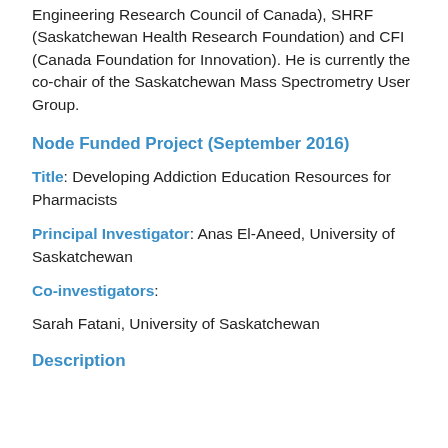Engineering Research Council of Canada), SHRF (Saskatchewan Health Research Foundation) and CFI (Canada Foundation for Innovation). He is currently the co-chair of the Saskatchewan Mass Spectrometry User Group.
Node Funded Project (September 2016)
Title: Developing Addiction Education Resources for Pharmacists
Principal Investigator: Anas El-Aneed, University of Saskatchewan
Co-investigators:
Sarah Fatani, University of Saskatchewan
Description